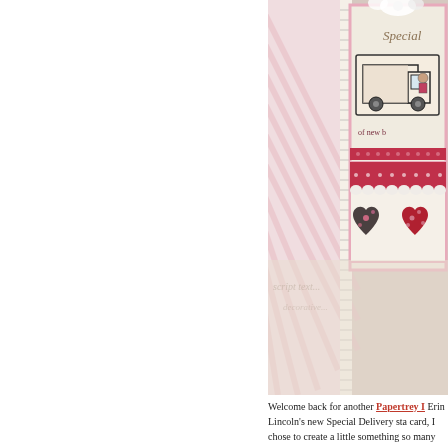[Figure (photo): A crafting/scrapbooking scene showing handmade greeting cards with a delivery truck stamp image and heart motifs, set against pink striped and patterned backgrounds. One card reads 'Special' and 'of new b...' partially visible. A red lace border card with dark and red hearts is visible at the bottom.]
Welcome back for another Papertrey I Erin Lincoln's new Special Delivery sta card, I chose to create a little something so many sentiments included in this set